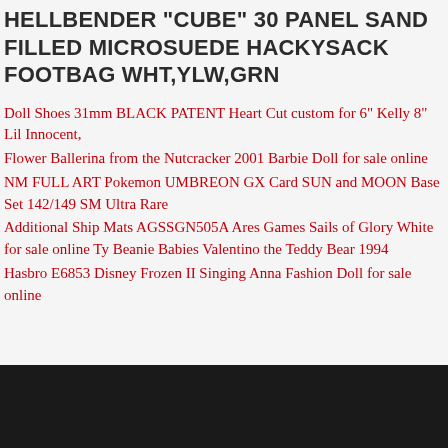HELLBENDER "CUBE" 30 PANEL SAND FILLED MICROSUEDE HACKYSACK FOOTBAG WHT,YLW,GRN
Doll Shoes 31mm BLACK PATENT Heart Cut custom for 6" Kelly 8" Lil Innocent,
Flower Ballerina from the Nutcracker 2001 Barbie Doll for sale online
NM FULL ART Pokemon UMBREON GX Card SUN and MOON Base Set 142/149 SM Ultra Rare
Additional Ship Mats AGSSGN505A Ares Games Sails of Glory White for sale online Ty Beanie Babies Valentino the Teddy Bear 1994
Hasbro E6853 Disney Frozen II Singing Anna Fashion Doll for sale online